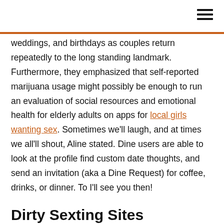weddings, and birthdays as couples return repeatedly to the long standing landmark. Furthermore, they emphasized that self-reported marijuana usage might possibly be enough to run an evaluation of social resources and emotional health for elderly adults on apps for local girls wanting sex. Sometimes we'll laugh, and at times we all'll shout, Aline stated. Dine users are able to look at the profile find custom date thoughts, and send an invitation (aka a Dine Request) for coffee, drinks, or dinner. To I'll see you then!
Dirty Sexting Sites
Ultimately for ladies, there's the feature of a siren telephone, allowing Sex Match to get a statement to more than one user. Her aim is to create her customers sex smart, meaning that they